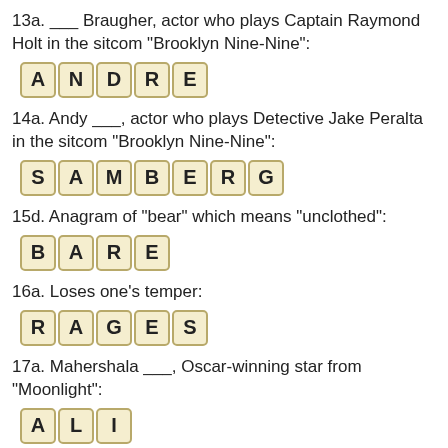13a. ___ Braugher, actor who plays Captain Raymond Holt in the sitcom "Brooklyn Nine-Nine":
[Figure (other): Letter tiles spelling ANDRE]
14a. Andy ___, actor who plays Detective Jake Peralta in the sitcom "Brooklyn Nine-Nine":
[Figure (other): Letter tiles spelling SAMBERG]
15d. Anagram of "bear" which means "unclothed":
[Figure (other): Letter tiles spelling BARE]
16a. Loses one's temper:
[Figure (other): Letter tiles spelling RAGES]
17a. Mahershala ___, Oscar-winning star from "Moonlight":
[Figure (other): Letter tiles spelling ALI (partial)]